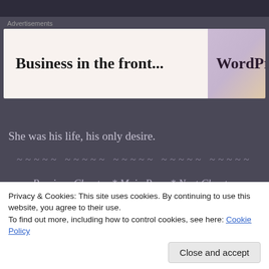[Figure (photo): Top portion of a photo, mostly dark/background visible at the very top of the page]
Advertisements
[Figure (screenshot): Advertisement banner with two panels: left panel (light pinkish background) reads 'Business in the front...' and right panel (purple/lavender gradient) reads 'WordPress in']
She was his life, his only desire.
~~~~~ ~~~~~ ~~~~~ ~~~~~ ~~~~~
Previous Chapter * Main Page * Next Chapter
Privacy & Cookies: This site uses cookies. By continuing to use this website, you agree to their use.
To find out more, including how to control cookies, see here: Cookie Policy
Please do not copy my English translations. You are